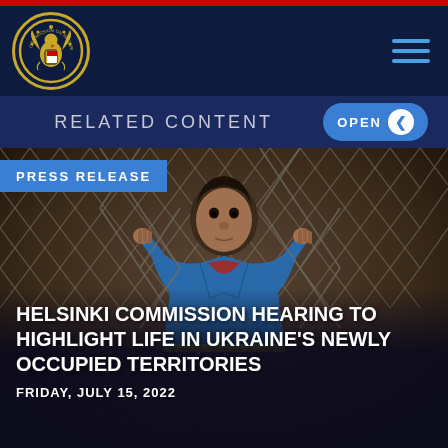[Figure (logo): Commission on Security and Cooperation in Europe seal/logo — gold eagle emblem on dark blue circular badge]
RELATED CONTENT
OPEN
PRESS RELEASE
[Figure (photo): Child in blue jacket holding a chain-link fence, looking through it with a somber expression. Moody, dark-toned photograph.]
HELSINKI COMMISSION HEARING TO HIGHLIGHT LIFE IN UKRAINE'S NEWLY OCCUPIED TERRITORIES
FRIDAY, JULY 15, 2022